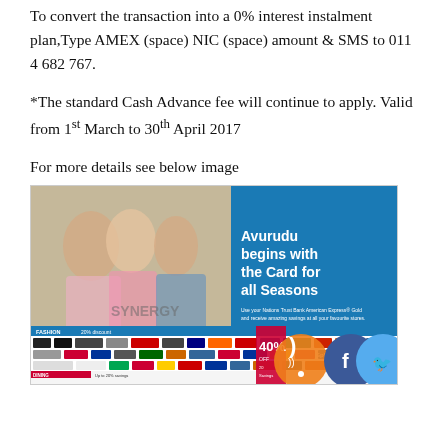To convert the transaction into a 0% interest instalment plan,Type AMEX (space) NIC (space) amount & SMS to 011 4 682 767.
*The standard Cash Advance fee will continue to apply. Valid from 1st March to 30th April 2017
For more details see below image
[Figure (illustration): Promotional image for Avurudu credit card offer showing people shopping with text 'Avurudu begins with the Card for all Seasons', featuring multiple brand logos, discounts, and social media icons (RSS, Facebook, Twitter).]